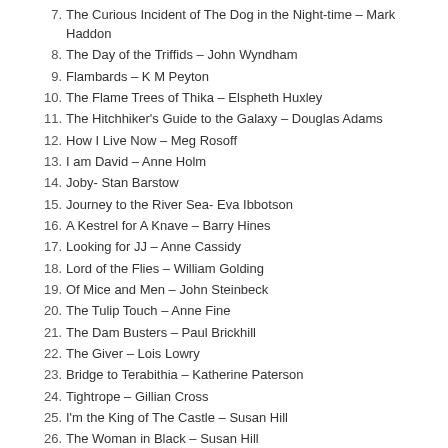7. The Curious Incident of The Dog in the Night-time – Mark Haddon
8. The Day of the Triffids – John Wyndham
9. Flambards – K M Peyton
10. The Flame Trees of Thika – Elspheth Huxley
11. The Hitchhiker's Guide to the Galaxy – Douglas Adams
12. How I Live Now – Meg Rosoff
13. I am David – Anne Holm
14. Joby- Stan Barstow
15. Journey to the River Sea- Eva Ibbotson
16. A Kestrel for A Knave – Barry Hines
17. Looking for JJ – Anne Cassidy
18. Lord of the Flies – William Golding
19. Of Mice and Men – John Steinbeck
20. The Tulip Touch – Anne Fine
21. The Dam Busters – Paul Brickhill
22. The Giver – Lois Lowry
23. Bridge to Terabithia – Katherine Paterson
24. Tightrope – Gillian Cross
25. I'm the King of The Castle – Susan Hill
26. The Woman in Black – Susan Hill